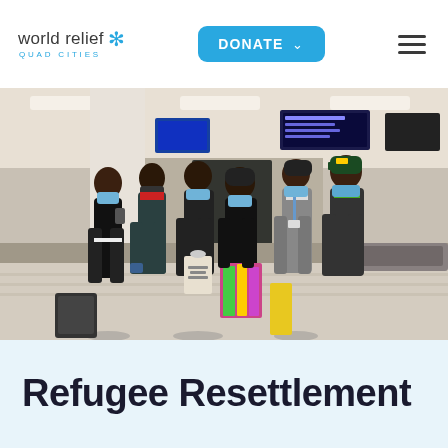world relief QUAD CITIES
[Figure (photo): Group of refugees wearing blue face masks standing in an airport baggage claim area. Six people of African descent are shown, some carrying bags, standing on a patterned carpet floor with baggage claim conveyor belts and airport departure boards visible in the background.]
Refugee Resettlement